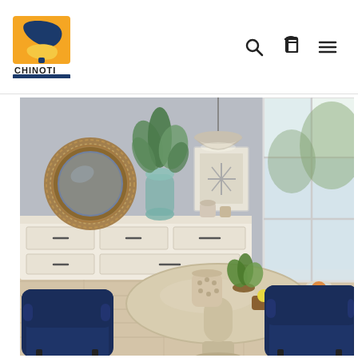[Figure (logo): Chinoti Furniture logo — orange square background with dark blue stylized bird/chair figure and yellow seat element, text CHINOTI above FURNITURE on dark blue banner]
[Figure (other): Navigation icons: search (magnifying glass), cart (shopping bag), and hamburger menu]
[Figure (photo): Dining room scene with two navy blue velvet accent chairs surrounding a round light wood pedestal dining table. A cream sideboard with black hardware sits against a grey wall. A round woven rattan mirror and green eucalyptus arrangement decorate the wall. A beige dome pendant light hangs above the table. On the table: a patterned ceramic pot, a potted fern, lemons on a tray, and a glass pitcher with iced drink. Large windows with natural light in background.]